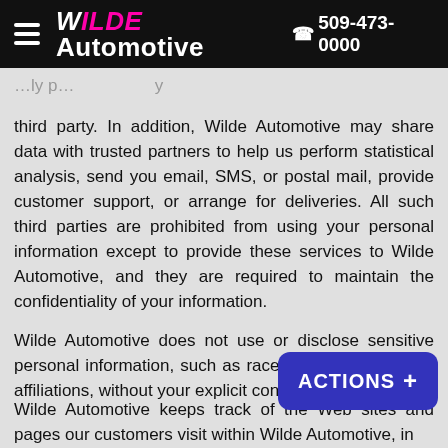WILDE Automotive  509-473-0000
third party. In addition, Wilde Automotive may share data with trusted partners to help us perform statistical analysis, send you email, SMS, or postal mail, provide customer support, or arrange for deliveries. All such third parties are prohibited from using your personal information except to provide these services to Wilde Automotive, and they are required to maintain the confidentiality of your information.
Wilde Automotive does not use or disclose sensitive personal information, such as race, religion, or political affiliations, without your explicit con…
Wilde Automotive keeps track of the Web sites and pages our customers visit within Wilde Automotive, in